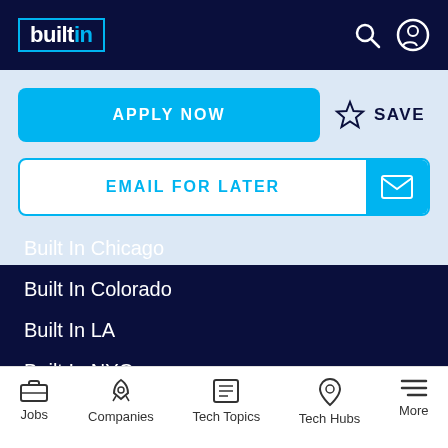builtin
APPLY NOW
SAVE
EMAIL FOR LATER
Built In Chicago
Built In Colorado
Built In LA
Built In NYC
Built In San Francisco
Jobs | Companies | Tech Topics | Tech Hubs | More